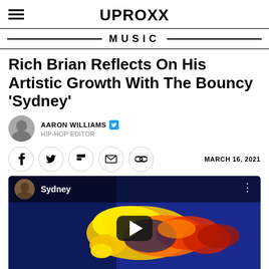UPROXX
MUSIC
Rich Brian Reflects On His Artistic Growth With The Bouncy ‘Sydney’
AARON WILLIAMS  HIP-HOP EDITOR
MARCH 16, 2021
[Figure (screenshot): YouTube video thumbnail for 'Sydney' by Rich Brian showing colorful abstract art on a blue background with a YouTube play button overlay]